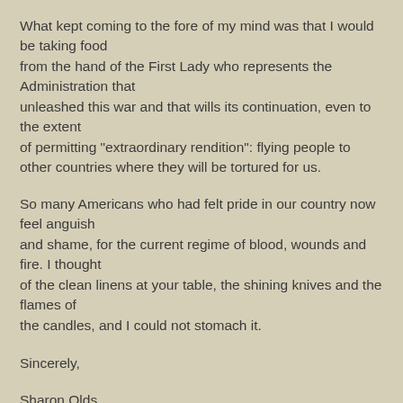What kept coming to the fore of my mind was that I would be taking food
from the hand of the First Lady who represents the Administration that
unleashed this war and that wills its continuation, even to the extent
of permitting "extraordinary rendition": flying people to other countries where they will be tortured for us.
So many Americans who had felt pride in our country now feel anguish
and shame, for the current regime of blood, wounds and fire. I thought
of the clean linens at your table, the shining knives and the flames of
the candles, and I could not stomach it.
Sincerely,
Sharon Olds